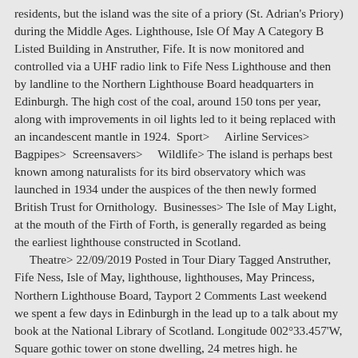residents, but the island was the site of a priory (St. Adrian's Priory) during the Middle Ages. Lighthouse, Isle Of May A Category B Listed Building in Anstruther, Fife. It is now monitored and controlled via a UHF radio link to Fife Ness Lighthouse and then by landline to the Northern Lighthouse Board headquarters in Edinburgh. The high cost of the coal, around 150 tons per year, along with improvements in oil lights led to it being replaced with an incandescent mantle in 1924. Sport>    Airline Services>  Bagpipes>  Screensavers>    Wildlife> The island is perhaps best known among naturalists for its bird observatory which was launched in 1934 under the auspices of the then newly formed British Trust for Ornithology.  Businesses> The Isle of May Light, at the mouth of the Firth of Forth, is generally regarded as being the earliest lighthouse constructed in Scotland.     Theatre> 22/09/2019 Posted in Tour Diary Tagged Anstruther, Fife Ness, Isle of May, lighthouse, lighthouses, May Princess, Northern Lighthouse Board, Tayport 2 Comments Last weekend we spent a few days in Edinburgh in the lead up to a talk about my book at the National Library of Scotland. Longitude 002°33.457'W, Square gothic tower on stone dwelling, 24 metres high. he geographical range was 22 miles, but the light was picked up and recognised by sailors at 40 and 50 miles off by the flashes lighting up the clouds overhead. The remnant of the 1636 lighthouse is a Scheduled Ancient Monument